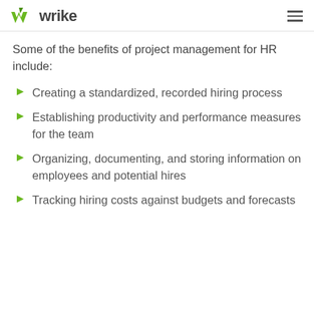wrike
Some of the benefits of project management for HR include:
Creating a standardized, recorded hiring process
Establishing productivity and performance measures for the team
Organizing, documenting, and storing information on employees and potential hires
Tracking hiring costs against budgets and forecasts